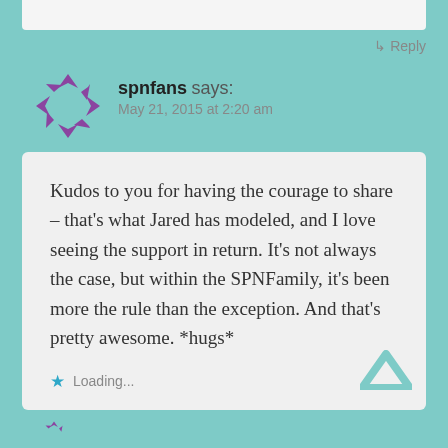[Figure (other): Top portion of a previous comment white box, partially visible at the top of the page]
↳ Reply
[Figure (logo): spnfans user avatar: purple dashed circle made of arrow triangles pointing outward]
spnfans says:
May 21, 2015 at 2:20 am
Kudos to you for having the courage to share – that's what Jared has modeled, and I love seeing the support in return. It's not always the case, but within the SPNFamily, it's been more the rule than the exception. And that's pretty awesome. *hugs*
Loading...
↳ Reply